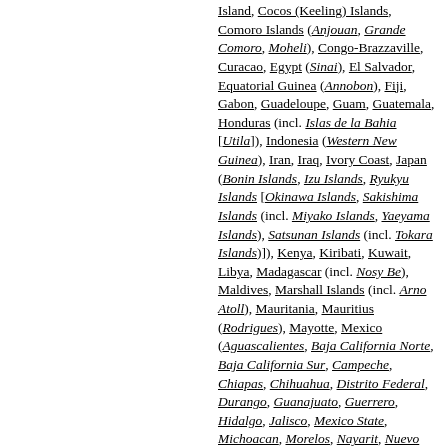Island, Cocos (Keeling) Islands, Comoro Islands (Anjouan, Grande Comoro, Moheli), Congo-Brazzaville, Curacao, Egypt (Sinai), El Salvador, Equatorial Guinea (Annobon), Fiji, Gabon, Guadeloupe, Guam, Guatemala, Honduras (incl. Islas de la Bahia [Utila]), Indonesia (Western New Guinea), Iran, Iraq, Ivory Coast, Japan (Bonin Islands, Izu Islands, Ryukyu Islands [Okinawa Islands, Sakishima Islands (incl. Miyako Islands, Yaeyama Islands), Satsunan Islands (incl. Tokara Islands)]), Kenya, Kiribati, Kuwait, Libya, Madagascar (incl. Nosy Be), Maldives, Marshall Islands (incl. Arno Atoll), Mauritania, Mauritius (Rodrigues), Mayotte, Mexico (Aguascalientes, Baja California Norte, Baja California Sur, Campeche, Chiapas, Chihuahua, Distrito Federal, Durango, Guanajuato, Guerrero, Hidalgo, Jalisco, Mexico State, Michoacan, Morelos, Nayarit, Nuevo Leon, Oaxaca, Puebla, Queretaro, Quintana Roo, Sinaloa, Sonora, Tabasco, Tamaulipas, Veracruz,